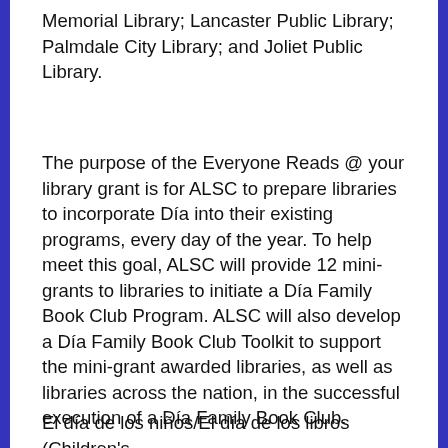Memorial Library; Lancaster Public Library; Palmdale City Library; and Joliet Public Library.
The purpose of the Everyone Reads @ your library grant is for ALSC to prepare libraries to incorporate Día into their existing programs, every day of the year. To help meet this goal, ALSC will provide 12 mini-grants to libraries to initiate a Día Family Book Club Program. ALSC will also develop a Día Family Book Club Toolkit to support the mini-grant awarded libraries, as well as libraries across the nation, in the successful execution of a Día Family Book Club.
El día de los niños/El día de los libros (Children's